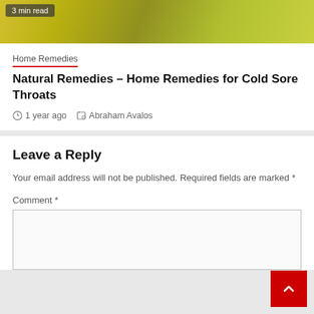[Figure (photo): Food photo with yellow/green colors, partially visible, with '3 min read' badge overlay]
Home Remedies
Natural Remedies – Home Remedies for Cold Sore Throats
1 year ago   Abraham Avalos
Leave a Reply
Your email address will not be published. Required fields are marked *
Comment *